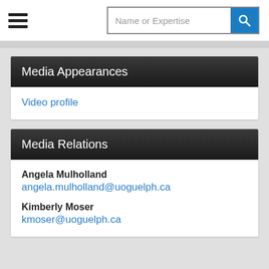[Figure (screenshot): Navigation hamburger menu icon (three horizontal lines)]
Name or Expertise
Media Appearances
Video profile
Media Relations
Angela Mulholland
angela.mulholland@uoguelph.ca
Kimberly Moser
kmoser@uoguelph.ca